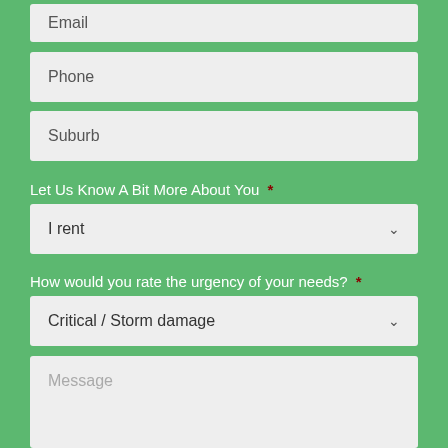Email
Phone
Suburb
Let Us Know A Bit More About You *
I rent
How would you rate the urgency of your needs? *
Critical / Storm damage
Message